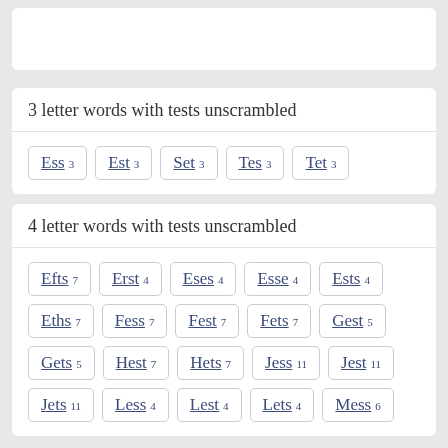3 letter words with tests unscrambled
Ess 3
Est 3
Set 3
Tes 3
Tet 3
4 letter words with tests unscrambled
Efts 7
Erst 4
Eses 4
Esse 4
Ests 4
Eths 7
Fess 7
Fest 7
Fets 7
Gest 5
Gets 5
Hest 7
Hets 7
Jess 11
Jest 11
Jets 11
Less 4
Lest 4
Lets 4
Mess 6